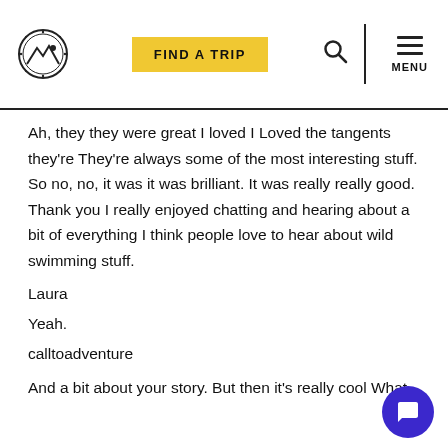FIND A TRIP | MENU
Ah, they they were great I loved I Loved the tangents they're They're always some of the most interesting stuff. So no, no, it was it was brilliant. It was really really good. Thank you I really enjoyed chatting and hearing about a bit of everything I think people love to hear about wild swimming stuff.
Laura
Yeah.
calltoadventure
And a bit about your story. But then it's really cool What